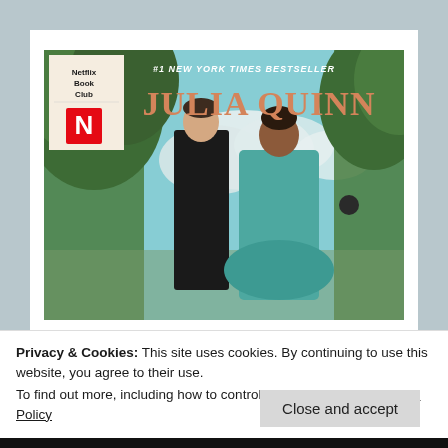[Figure (illustration): Book cover of Julia Quinn Bridgerton novel showing two Regency-era figures (a man in dark coat and a woman in teal dress) standing back to back against a sky background with trees. Upper left shows Netflix Book Club logo with Netflix N. Text reads '#1 NEW YORK TIMES BESTSELLER' and 'JULIA QUINN' in large letters.]
Privacy & Cookies: This site uses cookies. By continuing to use this website, you agree to their use.
To find out more, including how to control cookies, see here: Cookie Policy
Close and accept
THE VISCOUNT